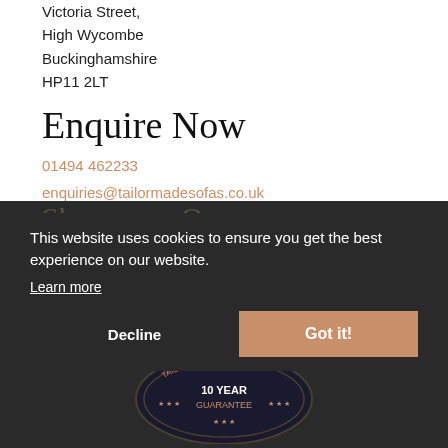Victoria Street,
High Wycombe
Buckinghamshire
HP11 2LT
Enquire Now
01494 462233
enquiries@tailormadesofas.co.uk
Showroom Open
This website uses cookies to ensure you get the best experience on our website.
Learn more
Decline
Got it!
[Figure (logo): Circular badge/seal with '10 YEAR GUARANTEE' text and stars]